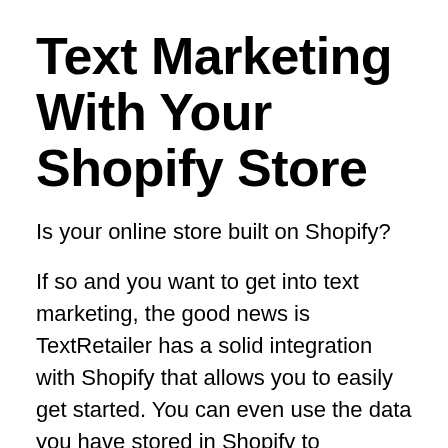Text Marketing With Your Shopify Store
Is your online store built on Shopify?
If so and you want to get into text marketing, the good news is TextRetailer has a solid integration with Shopify that allows you to easily get started. You can even use the data you have stored in Shopify to effectively create relevant segments for your messages.
Importantly, for your customers you can offer a smooth purchase process. There's no need for you to think about that because